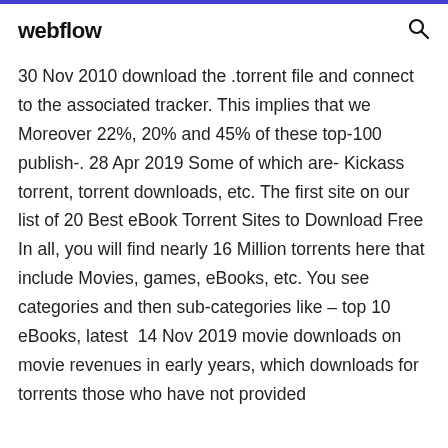webflow
30 Nov 2010 download the .torrent file and connect to the associated tracker. This implies that we Moreover 22%, 20% and 45% of these top-100 publish-. 28 Apr 2019 Some of which are- Kickass torrent, torrent downloads, etc. The first site on our list of 20 Best eBook Torrent Sites to Download Free In all, you will find nearly 16 Million torrents here that include Movies, games, eBooks, etc. You see categories and then sub-categories like – top 10 eBooks, latest  14 Nov 2019 movie downloads on movie revenues in early years, which downloads for torrents those who have not provided